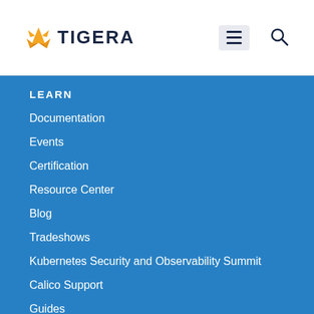[Figure (logo): Tigera logo with orange tiger icon and bold dark blue TIGERA text]
LEARN
Documentation
Events
Certification
Resource Center
Blog
Tradeshows
Kubernetes Security and Observability Summit
Calico Support
Guides